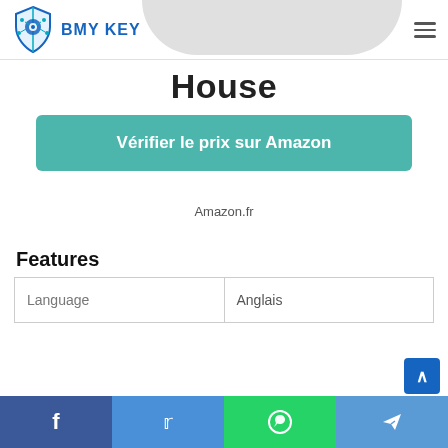BMY KEY
House
Vérifier le prix sur Amazon
Amazon.fr
Features
| Language | Anglais |
| --- | --- |
| Language | Anglais |
Facebook | Twitter | WhatsApp | Telegram